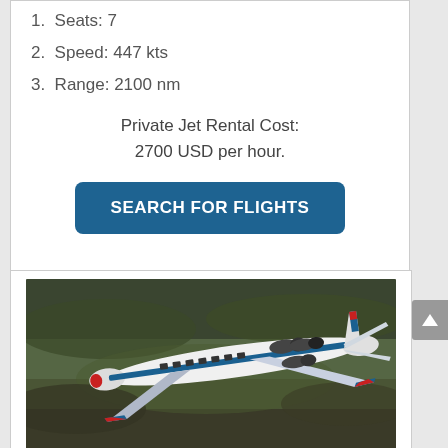1. Seats: 7
2. Speed: 447 kts
3. Range: 2100 nm
Private Jet Rental Cost:
2700 USD per hour.
SEARCH FOR FLIGHTS
[Figure (photo): Aerial photograph of a private jet (white with blue and red accents) flying over hilly terrain]